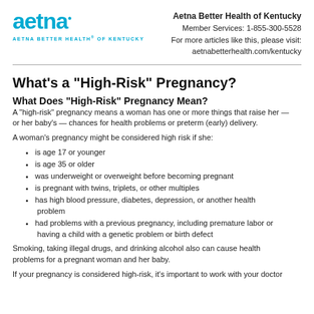[Figure (logo): Aetna logo with text 'AETNA BETTER HEALTH® OF KENTUCKY' in teal/blue]
Aetna Better Health of Kentucky
Member Services: 1-855-300-5528
For more articles like this, please visit:
aetnabetterhealth.com/kentucky
What's a "High-Risk" Pregnancy?
What Does "High-Risk" Pregnancy Mean?
A "high-risk" pregnancy means a woman has one or more things that raise her — or her baby's — chances for health problems or preterm (early) delivery.
A woman's pregnancy might be considered high risk if she:
is age 17 or younger
is age 35 or older
was underweight or overweight before becoming pregnant
is pregnant with twins, triplets, or other multiples
has high blood pressure, diabetes, depression, or another health problem
had problems with a previous pregnancy, including premature labor or having a child with a genetic problem or birth defect
Smoking, taking illegal drugs, and drinking alcohol also can cause health problems for a pregnant woman and her baby.
If your pregnancy is considered high-risk, it's important to work with your doctor